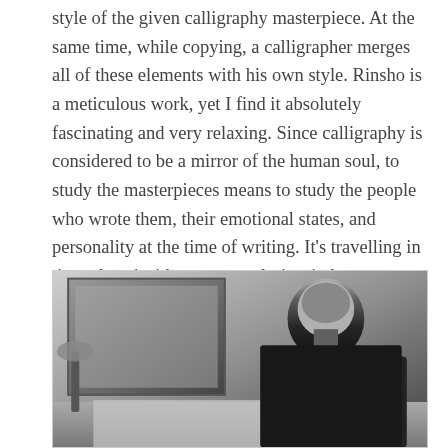style of the given calligraphy masterpiece. At the same time, while copying, a calligrapher merges all of these elements with his own style. Rinsho is a meticulous work, yet I find it absolutely fascinating and very relaxing. Since calligraphy is considered to be a mirror of the human soul, to study the masterpieces means to study the people who wrote them, their emotional states, and personality at the time of writing. It's travelling in time, deep inside someone else's mind.
[Figure (photo): Black and white photo of a man in a dark shirt leaning over a desk, apparently writing or doing calligraphy, with a framed picture and lamp visible in the background.]